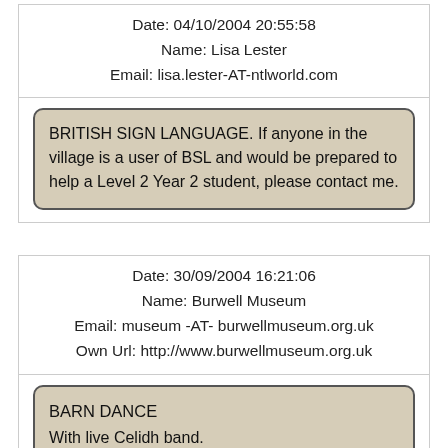Date: 04/10/2004 20:55:58
Name: Lisa Lester
Email: lisa.lester-AT-ntlworld.com
BRITISH SIGN LANGUAGE. If anyone in the village is a user of BSL and would be prepared to help a Level 2 Year 2 student, please contact me.
Date: 30/09/2004 16:21:06
Name: Burwell Museum
Email: museum -AT- burwellmuseum.org.uk
Own Url: http://www.burwellmuseum.org.uk
BARN DANCE
With live Celidh band.
8-11:30pm, Gardiner Memorial Hall, High Street, Burwell.
Entry by ticket only: £10 to include ploughman's meal. Bring your own drinks (soft or alcoholic).
Limited number of tickets - available from Burwell Post Office